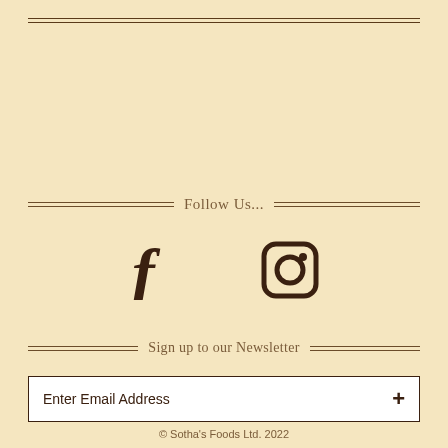Follow Us...
[Figure (illustration): Facebook icon (f) and Instagram camera icon displayed as social media links]
Sign up to our Newsletter
Enter Email Address
© Sotha's Foods Ltd. 2022